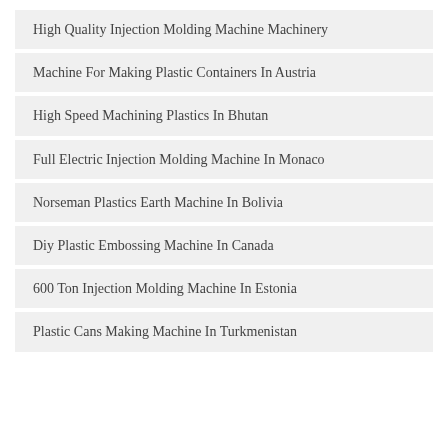High Quality Injection Molding Machine Machinery
Machine For Making Plastic Containers In Austria
High Speed Machining Plastics In Bhutan
Full Electric Injection Molding Machine In Monaco
Norseman Plastics Earth Machine In Bolivia
Diy Plastic Embossing Machine In Canada
600 Ton Injection Molding Machine In Estonia
Plastic Cans Making Machine In Turkmenistan